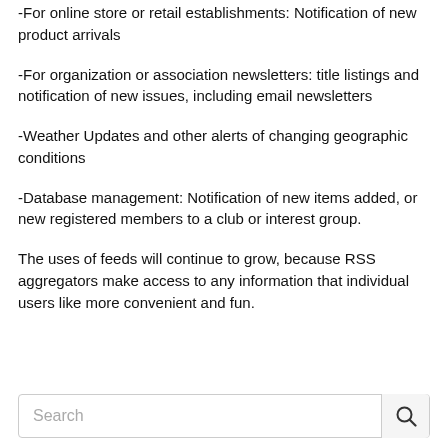-For online store or retail establishments: Notification of new product arrivals
-For organization or association newsletters: title listings and notification of new issues, including email newsletters
-Weather Updates and other alerts of changing geographic conditions
-Database management: Notification of new items added, or new registered members to a club or interest group.
The uses of feeds will continue to grow, because RSS aggregators make access to any information that individual users like more convenient and fun.